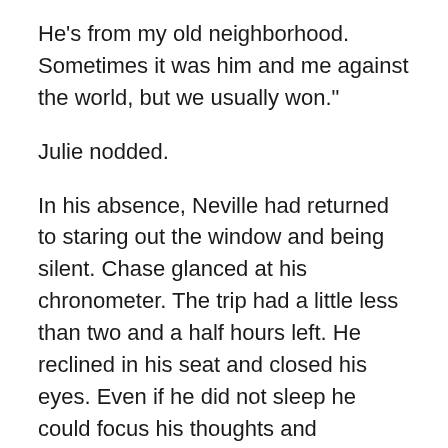He's from my old neighborhood. Sometimes it was him and me against the world, but we usually won."
Julie nodded.
In his absence, Neville had returned to staring out the window and being silent. Chase glanced at his chronometer. The trip had a little less than two and a half hours left. He reclined in his seat and closed his eyes. Even if he did not sleep he could focus his thoughts and concentrate. He was not certain what he could do, only he needed to be there for Paul whenever the demand necessitated.
Maybe something unexpected would happen. It would not be like an accident or a coincidence because such things just do not exist. It would be the result of a series of events some catalyst triggered. A stream would ensue and it